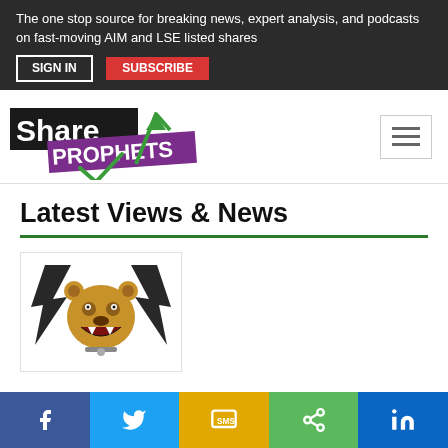The one stop source for breaking news, expert analysis, and podcasts on fast-moving AIM and LSE listed shares
[Figure (logo): ShareProphets logo with green arrow and checkmark]
Latest Views & News
[Figure (illustration): Bear mascot with lightning bolt wings, roaring, used as article thumbnail]
Social share bar: Facebook, Twitter, SMS, Share, LinkedIn